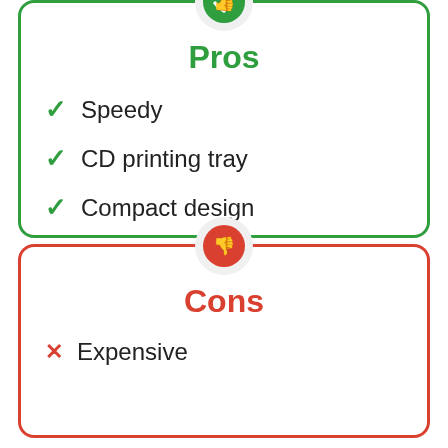Pros
Speedy
CD printing tray
Compact design
Various media handling
Cons
Expensive